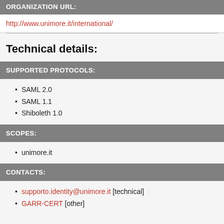ORGANIZATION URL:
http://www.unimore.it/international/
Technical details:
SUPPORTED PROTOCOLS:
SAML 2.0
SAML 1.1
Shiboleth 1.0
SCOPES:
unimore.it
CONTACTS:
supporto.identity@unimore.it [technical]
GARR-CERT [other]